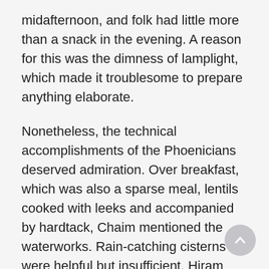midafternoon, and folk had little more than a snack in the evening. A reason for this was the dimness of lamplight, which made it troublesome to prepare anything elaborate.
Nonetheless, the technical accomplishments of the Phoenicians deserved admiration. Over breakfast, which was also a sparse meal, lentils cooked with leeks and accompanied by hardtack, Chaim mentioned the waterworks. Rain-catching cisterns were helpful but insufficient. Hiram didn't want Tyre dependent on boats from Usu, nor linked to the mainland by an extended aqueduct that could serve an enemy as a bridge. Like the Sidonians before him, he